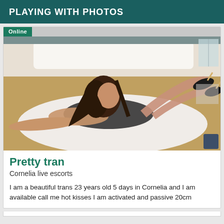PLAYING WITH PHOTOS
Online
[Figure (photo): A person posing on a white rug in front of a bed in a bedroom setting]
Pretty tran
Cornelia live escorts
I am a beautiful trans 23 years old 5 days in Cornelia and I am available call me hot kisses I am activated and passive 20cm